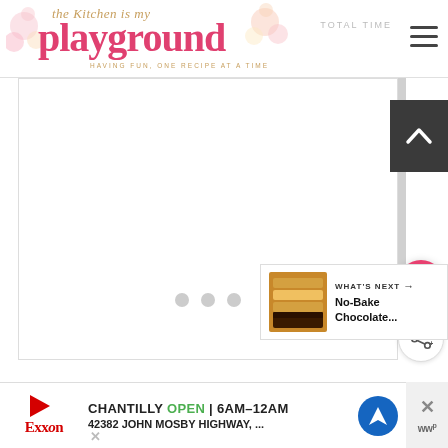the Kitchen is my playground — HAVING FUN, ONE RECIPE AT A TIME — TOTAL TIME
[Figure (screenshot): White content loading area with three grey loading dots at the bottom center]
[Figure (infographic): What's Next panel showing a thumbnail of a No-Bake Chocolate dessert with label WHAT'S NEXT]
[Figure (infographic): Advertisement banner for Exxon Chantilly location showing OPEN 6AM-12AM, 42382 JOHN MOSBY HIGHWAY with navigation icon]